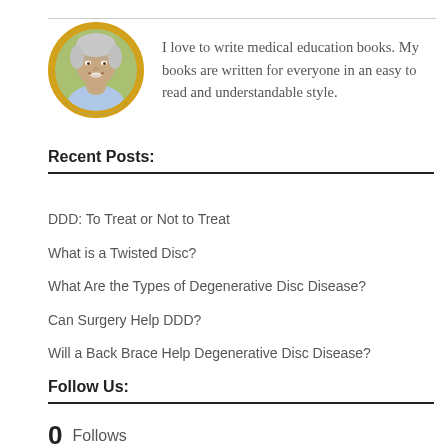[Figure (photo): Circular avatar photo of an older smiling man with grey hair outdoors, framed with an orange/gold circular border]
I love to write medical education books. My books are written for everyone in an easy to read and understandable style.
Recent Posts:
DDD: To Treat or Not to Treat
What is a Twisted Disc?
What Are the Types of Degenerative Disc Disease?
Can Surgery Help DDD?
Will a Back Brace Help Degenerative Disc Disease?
Follow Us:
0 Follows